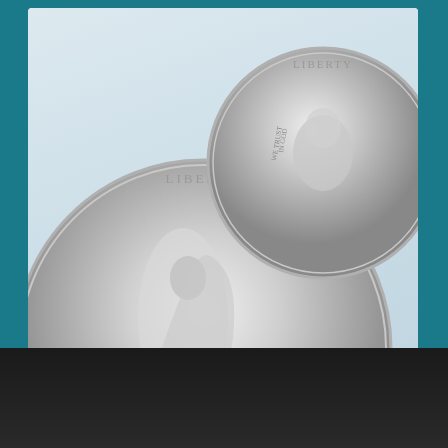[Figure (photo): Three silver coins on a light blue-grey background: a large Walking Liberty half dollar (1946) on the left, a Washington quarter (1937) at upper right, and a Jefferson nickel at lower right.]
ROLLS OF 1950-D NICKELS, uncirculated Washington quarters and Walking Liberty half dollars were hot-ticket items.